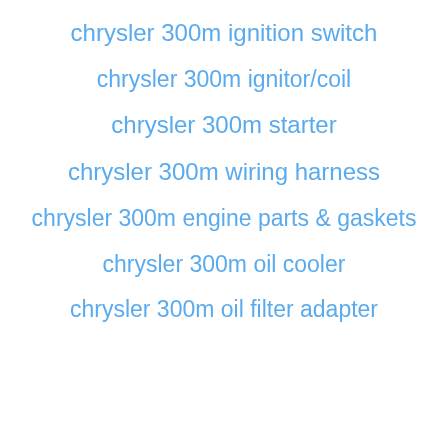chrysler 300m ignition switch
chrysler 300m ignitor/coil
chrysler 300m starter
chrysler 300m wiring harness
chrysler 300m engine parts & gaskets
chrysler 300m oil cooler
chrysler 300m oil filter adapter